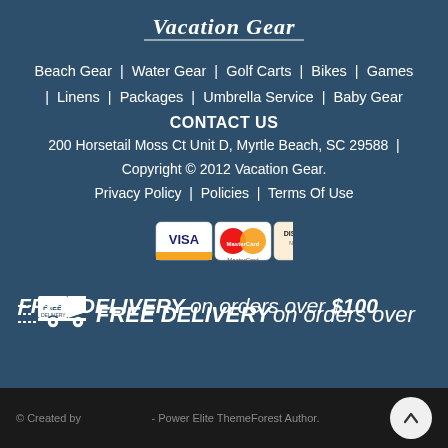[Figure (logo): Vacation Gear cursive logo in white on dark blue background]
Beach Gear | Water Gear | Golf Carts | Bikes | Games | Linens | Packages | Umbrella Service | Baby Gear
CONTACT US
200 Horsetail Moss Ct Unit D, Myrtle Beach, SC 29588 | Copyright © 2012 Vacation Gear. Privacy Policy | Policies | Terms Of Use
[Figure (other): Payment method icons: VISA, MasterCard, DISCOVER NETWORK]
[Figure (other): Free delivery truck icon with FREE DELIVERY on orders over $100 text]
© Created by - Power Elite ThemeForest Author.